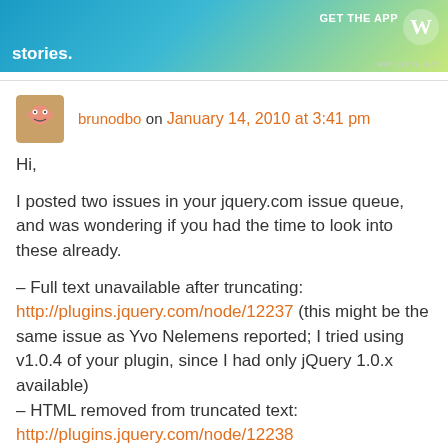[Figure (screenshot): WordPress advertisement banner with text 'Create immersive stories.' and 'GET THE APP' with WordPress logo]
brunodbo on January 14, 2010 at 3:41 pm
Hi,

I posted two issues in your jquery.com issue queue, and was wondering if you had the time to look into these already.

– Full text unavailable after truncating:
http://plugins.jquery.com/node/12237 (this might be the same issue as Yvo Nelemens reported; I tried using v1.0.4 of your plugin, since I had only jQuery 1.0.x available)
– HTML removed from truncated text:
http://plugins.jquery.com/node/12238